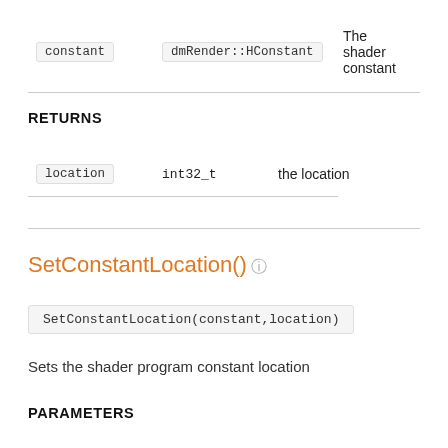| Parameter | Type | Description |
| --- | --- | --- |
| constant | dmRender::HConstant | The shader constant |
RETURNS
| Return | Type | Description |
| --- | --- | --- |
| location | int32_t | the location |
SetConstantLocation()
SetConstantLocation(constant,location)
Sets the shader program constant location
PARAMETERS